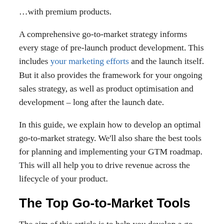…with premium products.
A comprehensive go-to-market strategy informs every stage of pre-launch product development. This includes your marketing efforts and the launch itself. But it also provides the framework for your ongoing sales strategy, as well as product optimisation and development – long after the launch date.
In this guide, we explain how to develop an optimal go-to-market strategy. We'll also share the best tools for planning and implementing your GTM roadmap. This will all help you to drive revenue across the lifecycle of your product.
The Top Go-to-Market Tools
The aim of this article is to help you develop a go-to-